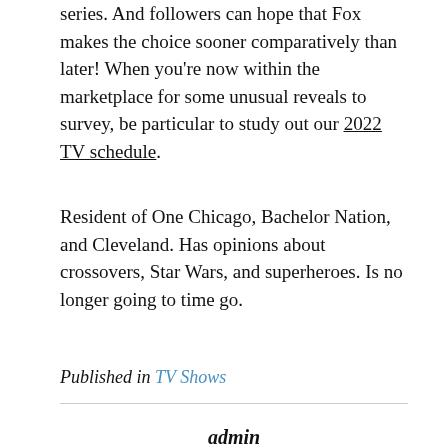series. And followers can hope that Fox makes the choice sooner comparatively than later! When you're now within the marketplace for some unusual reveals to survey, be particular to study out our 2022 TV schedule.
Resident of One Chicago, Bachelor Nation, and Cleveland. Has opinions about crossovers, Star Wars, and superheroes. Is no longer going to time go.
Published in TV Shows
admin